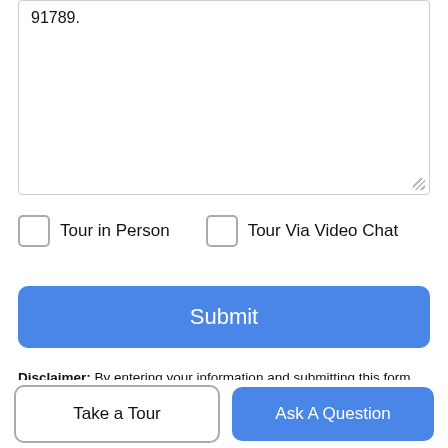91789.
Tour in Person
Tour Via Video Chat
Submit
Disclaimer: By entering your information and submitting this form, you agree to our Terms of Use and Privacy Policy and that you may be contacted by phone, text message and email about your inquiry.
Based on information from California Regional Multiple Listing Service, Inc. as of 2022-08-28T12:27:25.82. This information is for your personal, non-commercial use and may not be used for any
Take a Tour
Ask A Question